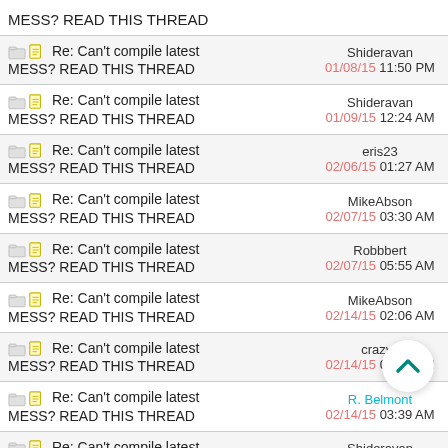Re: Can't compile latest MESS? READ THIS THREAD — Shideravan 01/08/15 11:50 PM
Re: Can't compile latest MESS? READ THIS THREAD — Shideravan 01/09/15 12:24 AM
Re: Can't compile latest MESS? READ THIS THREAD — eris23 02/06/15 01:27 AM
Re: Can't compile latest MESS? READ THIS THREAD — MikeAbson 02/07/15 03:30 AM
Re: Can't compile latest MESS? READ THIS THREAD — Robbbert 02/07/15 05:55 AM
Re: Can't compile latest MESS? READ THIS THREAD — MikeAbson 02/14/15 02:06 AM
Re: Can't compile latest MESS? READ THIS THREAD — crazyc 02/14/15 03:27 AM
Re: Can't compile latest MESS? READ THIS THREAD — R. Belmont 02/14/15 03:39 AM
Re: Can't compile latest MESS? READ THIS THREAD — Shideravan 02/14/15 01:56 PM